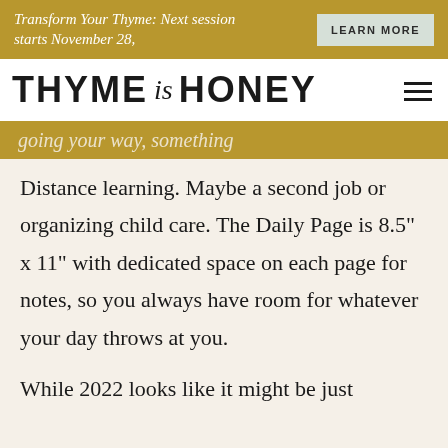Transform Your Thyme: Next session starts November 28,
LEARN MORE
THYME is HONEY
going your way, something
Distance learning. Maybe a second job or organizing child care. The Daily Page is 8.5" x 11" with dedicated space on each page for notes, so you always have room for whatever your day throws at you.
While 2022 looks like it might be just